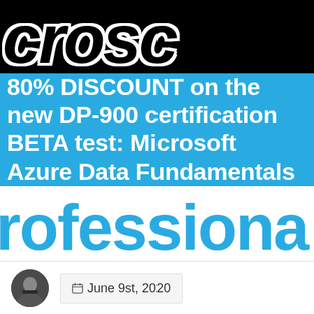[Figure (logo): Partial black logo text 'crosc' (part of a larger brand name) on black background, white outlined italic bold letters]
80% DISCOUNT on the new DP-900 certification BETA test: Microsoft Azure Data Fundamentals
[Figure (logo): Large cyan bold text reading 'rofessiona' (part of 'Professional') on white background]
June 9st, 2020